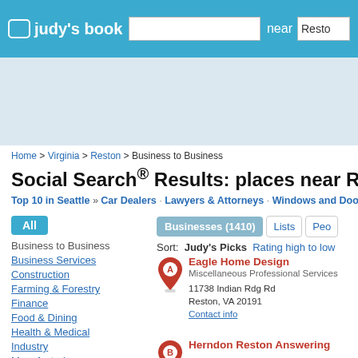[Figure (screenshot): Judy's Book website header with logo, search box, near label and location input]
[Figure (other): Light blue advertisement banner area]
Home > Virginia > Reston > Business to Business
Social Search® Results: places near Reston, VA (0.03...)
Top 10 in Seattle » Car Dealers · Lawyers & Attorneys · Windows and Doors · Act...
All
Business to Business
Business Services
Construction
Farming & Forestry
Finance
Food & Dining
Health & Medical
Industry
Manufacturing
Businesses (1410)  Lists  Peo...
Sort: Judy's Picks  Rating high to low
Eagle Home Design
Miscellaneous Professional Services
11738 Indian Rdg Rd
Reston, VA 20191
Contact info
Herndon Reston Answering...